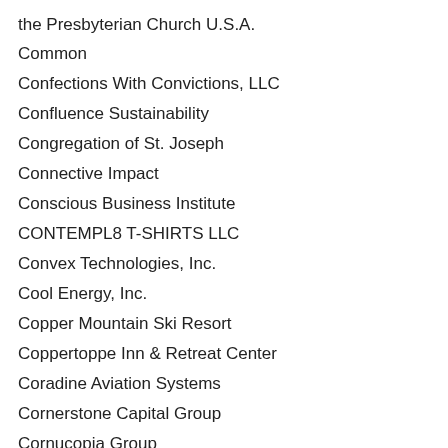the Presbyterian Church U.S.A.
Common
Confections With Convictions, LLC
Confluence Sustainability
Congregation of St. Joseph
Connective Impact
Conscious Business Institute
CONTEMPL8 T-SHIRTS LLC
Convex Technologies, Inc.
Cool Energy, Inc.
Copper Mountain Ski Resort
Coppertoppe Inn & Retreat Center
Coradine Aviation Systems
Cornerstone Capital Group
Cornucopia Group
Corporate Sustainability Advisors LLC
Cotopaxi
COULSON
Council Fire